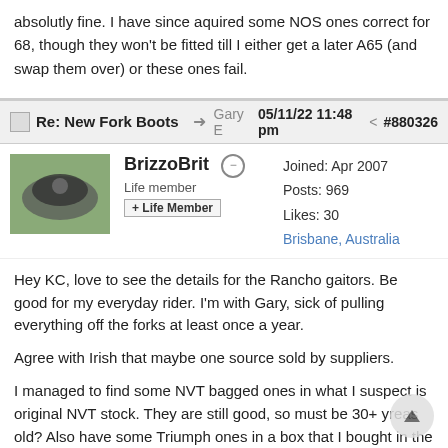absolutly fine. I have since aquired some NOS ones correct for 68, though they won't be fitted till I either get a later A65 (and swap them over) or these ones fail.
Re: New Fork Boots  Gary E  05/11/22 11:48 pm  #880326
BrizzoBrit  Life member  + Life Member  Joined: Apr 2007  Posts: 969  Likes: 30  Brisbane, Australia
Hey KC, love to see the details for the Rancho gaitors. Be good for my everyday rider. I'm with Gary, sick of pulling everything off the forks at least once a year.
Agree with Irish that maybe one source sold by suppliers.
I managed to find some NVT bagged ones in what I suspect is original NVT stock. They are still good, so must be 30+ yreas old? Also have some Triumph ones in a box that I bought in the late 90's that look like old stock. They are still good.